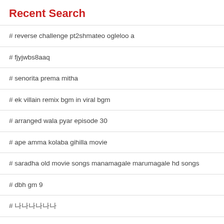Recent Search
# reverse challenge pt2shmateo ogleloo a
# fjyjwbs8aaq
# senorita prema mitha
# ek villain remix bgm in viral bgm
# arranged wala pyar episode 30
# ape amma kolaba gihilla movie
# saradha old movie songs manamagale marumagale hd songs
# dbh gm 9
# 나나나나나나
# the eternal love episode 3
# pastor mukhuba healing and deliverance
# talking to the moon ringtone